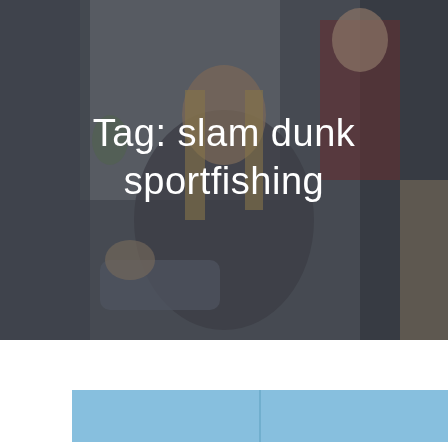[Figure (photo): A group of people in a meeting or discussion setting. A young woman with long blond hair wearing a patterned jacket is gesturing with her hands. A man in a red sweater and grey scarf is visible in the background. Another person is partially visible on the right. The image has a dark, muted overlay tone.]
Tag: slam dunk sportfishing
[Figure (other): A light blue horizontal bar or banner element, partially visible at the bottom of the page, with a vertical dividing line near its center.]